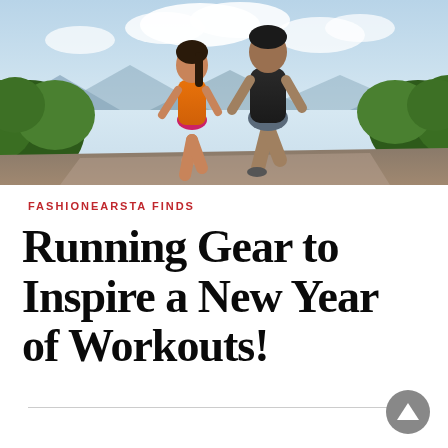[Figure (photo): Two runners (a woman in orange tank top and pink shorts, a man in black shirt and grey shorts) running on a trail outdoors with green foliage and sky in the background.]
FASHIONEARSTA FINDS
Running Gear to Inspire a New Year of Workouts!